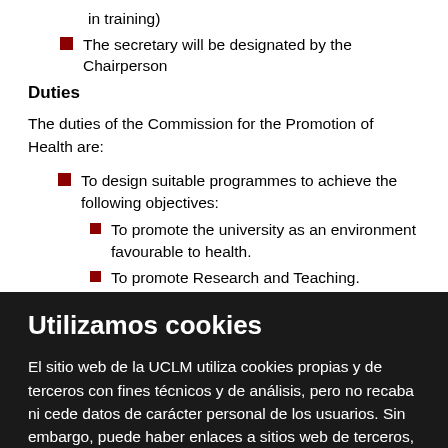in training)
The secretary will be designated by the Chairperson
Duties
The duties of the Commission for the Promotion of Health are:
To design suitable programmes to achieve the following objectives:
To promote the university as an environment favourable to health.
To promote Research and Teaching.
Utilizamos cookies
El sitio web de la UCLM utiliza cookies propias y de terceros con fines técnicos y de análisis, pero no recaba ni cede datos de carácter personal de los usuarios. Sin embargo, puede haber enlaces a sitios web de terceros, con políticas de cookies distintas a la